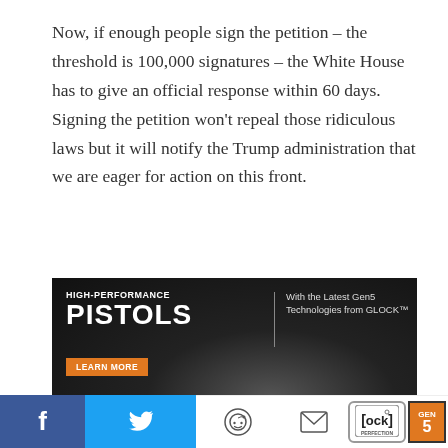Now, if enough people sign the petition – the threshold is 100,000 signatures – the White House has to give an official response within 60 days. Signing the petition won't repeal those ridiculous laws but it will notify the Trump administration that we are eager for action on this front.
[Figure (photo): Advertisement for GLOCK High-Performance Pistols with Gen5 Technologies. Dark background showing a pistol. Text reads: HIGH-PERFORMANCE PISTOLS | With the Latest Gen5 Technologies from GLOCK™. Orange LEARN MORE button.]
[Figure (infographic): Social sharing footer bar with Facebook (blue), Twitter (light blue), Reddit, Email buttons, and GLOCK Gen5 badge.]